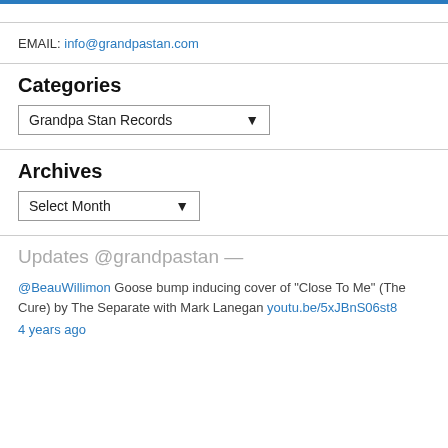EMAIL: info@grandpastan.com
Categories
[Figure (screenshot): Dropdown selector showing 'Grandpa Stan Records']
Archives
[Figure (screenshot): Dropdown selector showing 'Select Month']
Updates @grandpastan —
@BeauWillimon Goose bump inducing cover of "Close To Me" (The Cure) by The Separate with Mark Lanegan youtu.be/5xJBnS06st8
4 years ago